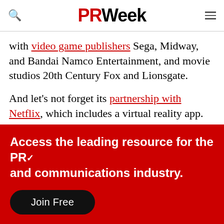PR Week
with video game publishers Sega, Midway, and Bandai Namco Entertainment, and movie studios 20th Century Fox and Lionsgate.
And let's not forget its partnership with Netflix, which includes a virtual reality app.
[Figure (infographic): Red promotional banner reading 'Access the leading resource for the PR and communications industry.' with a 'Join Free' black rounded button.]
Welcome to prweek.com. This site uses Cookies to provide you with the best possible experience. To learn more please view our Cookie Notice.
1) CSR and good causes
My first (and only) time up on a conference was during the